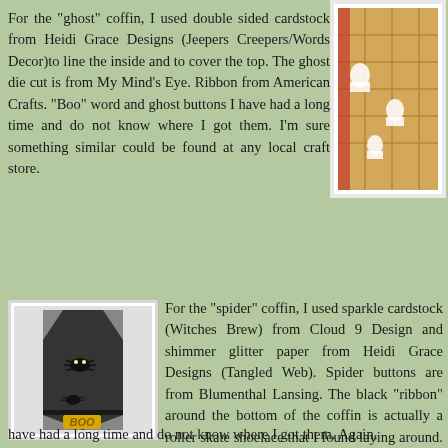For the "ghost" coffin, I used double sided cardstock from Heidi Grace Designs (Jeepers Creepers/Words Decor)to line the inside and to cover the top. The ghost die cut is from My Mind's Eye. Ribbon from American Crafts. "Boo" word and ghost buttons I have had a long time and do not know where I got them. I'm sure something similar could be found at any local craft store.
[Figure (photo): A Halloween ghost-themed coffin box with orange and white ghost patterned cardstock, showing the top/lid of the coffin]
[Figure (photo): A dark gray sparkle cardstock coffin box with spider buttons and 'BOO' text at the bottom, roller skate shoelace ribbon around the base]
For the "spider" coffin, I used sparkle cardstock (Witches Brew) from Cloud 9 Design and shimmer glitter paper from Heidi Grace Designs (Tangled Web). Spider buttons are from Blumenthal Lansing. The black "ribbon" around the bottom of the coffin is actually a roller skate shoelace that I found laying around. "Boo" word and checkered button I have had a long time and do not know where I got them. Again,